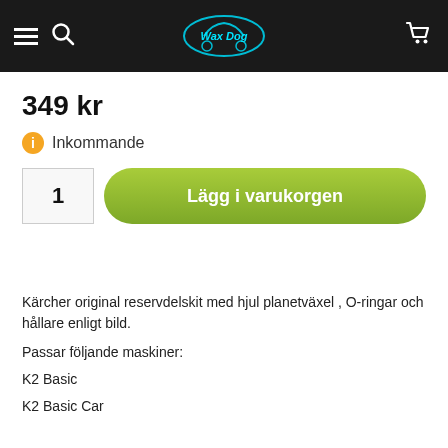[Figure (logo): Wax Dog logo — stylized car with teal/blue outline on black navbar background, with 'Wax Dog' text in cyan/blue]
349 kr
Inkommande
1  Lägg i varukorgen
Kärcher original reservdelskit med hjul planetväxel , O-ringar och hållare enligt bild.
Passar följande maskiner:
K2 Basic
K2 Basic Car